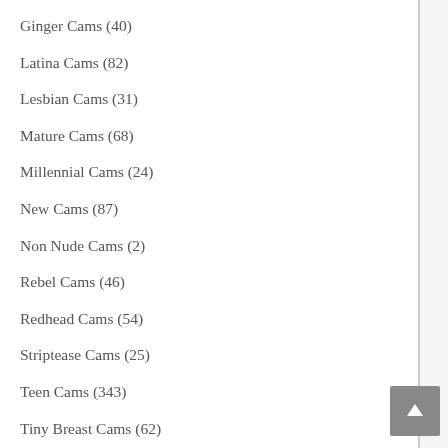Ginger Cams (40)
Latina Cams (82)
Lesbian Cams (31)
Mature Cams (68)
Millennial Cams (24)
New Cams (87)
Non Nude Cams (2)
Rebel Cams (46)
Redhead Cams (54)
Striptease Cams (25)
Teen Cams (343)
Tiny Breast Cams (62)
Uncategorized (2)
VibraToy Cams (44)
VIP Sex Cams (92)